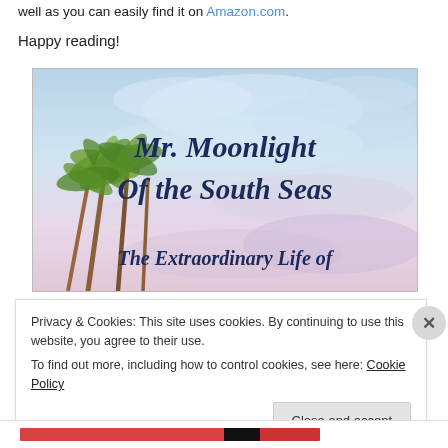well as you can easily find it on Amazon.com.
Happy reading!
[Figure (illustration): Book cover of 'Mr. Moonlight of the South Seas – The Extraordinary Life of' with a watercolor background of blue sky and palm trees on the left side. The title text is in dark navy script/cursive font.]
Privacy & Cookies: This site uses cookies. By continuing to use this website, you agree to their use.
To find out more, including how to control cookies, see here: Cookie Policy